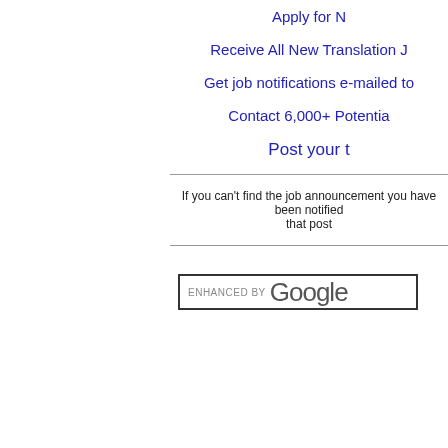Apply for N
Receive All New Translation J
Get job notifications e-mailed to
Contact 6,000+ Potentia
Post your t
If you can't find the job announcement you have been notified that pos
[Figure (screenshot): Google enhanced search box with text 'ENHANCED BY Google']